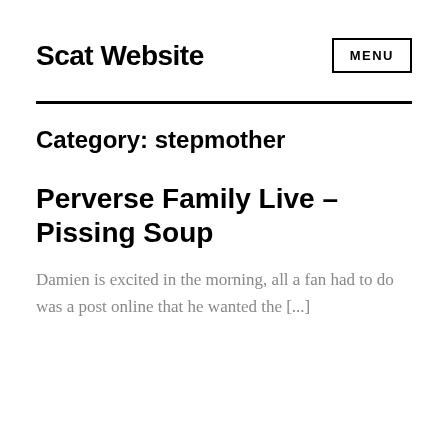Scat Website
Category: stepmother
Perverse Family Live – Pissing Soup
Damien is excited in the morning, all a fan had to do was a post online that he wanted the [...]